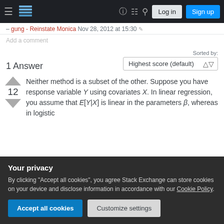Stack Exchange navigation bar with Log in and Sign up buttons
– gung - Reinstate Monica Nov 28, 2012 at 15:30
Add a comment
1 Answer
Sorted by: Highest score (default)
Neither method is a subset of the other. Suppose you have response variable Y using covariates X. In linear regression, you assume that E[Y|X] is linear in the parameters β, whereas in logistic
Your privacy
By clicking "Accept all cookies", you agree Stack Exchange can store cookies on your device and disclose information in accordance with our Cookie Policy.
Accept all cookies   Customize settings
assume two different quantities are linear in β. The